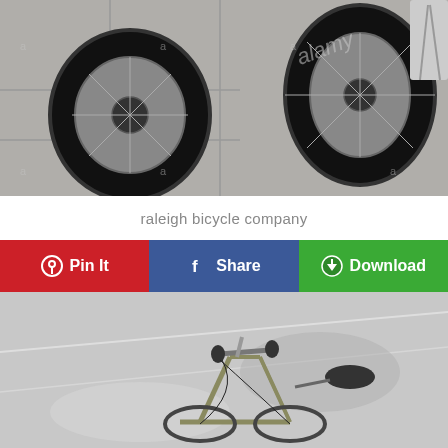[Figure (photo): Stock photo showing bicycle wheels/tires on a pavement surface, with alamy watermark overlaid]
raleigh bicycle company
Pin It | Share | Download
[Figure (photo): Grayscale/desaturated photo of a vintage Raleigh bicycle leaning on a street, showing handlebars, frame, and saddle]